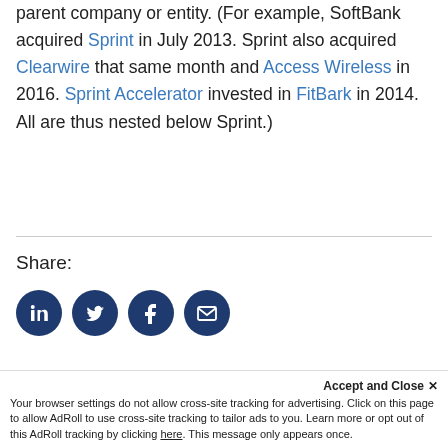parent company or entity. (For example, SoftBank acquired Sprint in July 2013. Sprint also acquired Clearwire that same month and Access Wireless in 2016. Sprint Accelerator invested in FitBark in 2014. All are thus nested below Sprint.)
Share:
[Figure (other): Four dark blue circular social media share buttons: LinkedIn, Twitter, Facebook, Email]
Tags:
Private Equity
Accept and Close ✕
Your browser settings do not allow cross-site tracking for advertising. Click on this page to allow AdRoll to use cross-site tracking to tailor ads to you. Learn more or opt out of this AdRoll tracking by clicking here. This message only appears once.